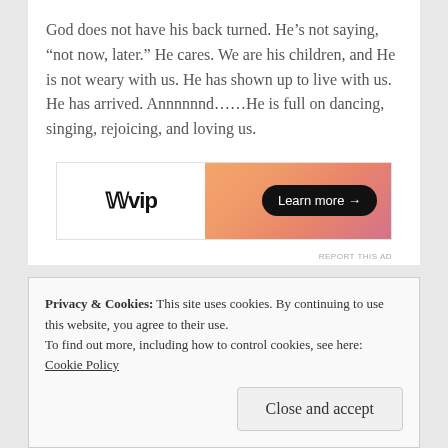God does not have his back turned.  He's not saying, “not now, later.”  He cares.  We are his children, and He is not weary with us.  He has shown up to live with us.  He has arrived.  Annnnnnd……He is full on dancing, singing, rejoicing, and loving us.
[Figure (other): Advertisement banner for WordPress VIP with logo on left and gradient orange/pink background on right with 'Learn more →' button]
Privacy & Cookies: This site uses cookies. By continuing to use this website, you agree to their use.
To find out more, including how to control cookies, see here: Cookie Policy
Close and accept